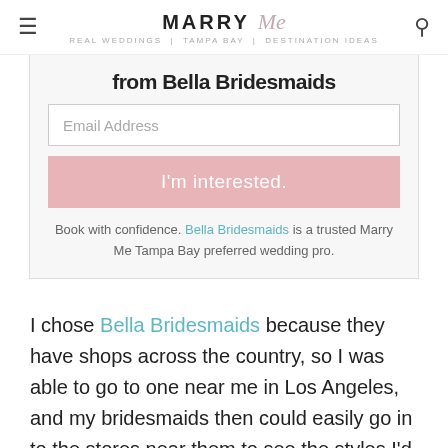MARRY Me Tampa Bay
from Bella Bridesmaids
Email Address
I'm interested.
Book with confidence. Bella Bridesmaids is a trusted Marry Me Tampa Bay preferred wedding pro.
I chose Bella Bridesmaids because they have shops across the country, so I was able to go to one near me in Los Angeles, and my bridesmaids then could easily go in to the stores near them to see the styles I'd selected. My bridesmaids live in California, Missouri, Arizona, Washington, Wisconsin, and New York – so using Bella Bridesmaids made everything a lot easier.